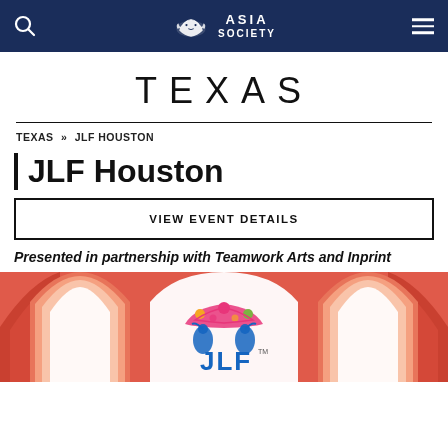Asia Society
TEXAS
TEXAS » JLF HOUSTON
JLF Houston
VIEW EVENT DETAILS
Presented in partnership with Teamwork Arts and Inprint
[Figure (logo): JLF logo with colorful peacock design on decorative arch background in coral/pink tones]